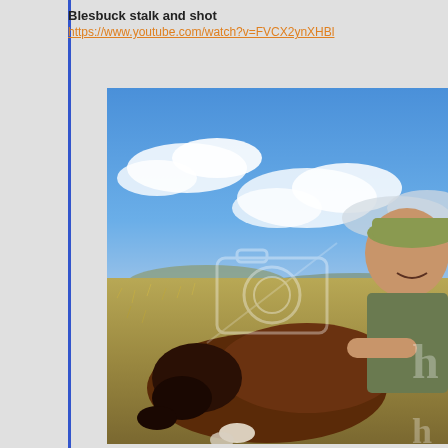Blesbuck stalk and shot
https://www.youtube.com/watch?v=FVCX2ynXHBl
[Figure (photo): A person posing outdoors with a hunted blesbuck antelope lying in a grassy field. Blue sky with clouds in background. A watermark camera icon is visible in the center of the image.]